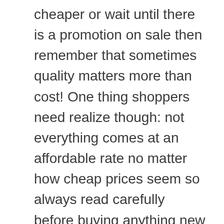cheaper or wait until there is a promotion on sale then remember that sometimes quality matters more than cost! One thing shoppers need realize though: not everything comes at an affordable rate no matter how cheap prices seem so always read carefully before buying anything new online-you never know what kind of joke someone might be trying to pull where their products' real value falls short from its wholesome selling points due solely because some unscrupulous company makes use low grade materials while claiming theirs are high end items made by professionals with years experience etcetera.
2. Brand
When it comes to fashion, there is a lot of debate on what brands are worth investing in. Some